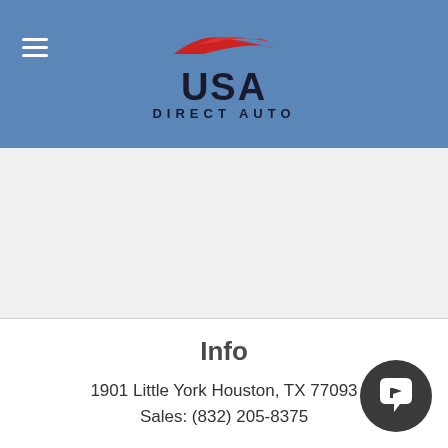[Figure (logo): USA Direct Auto logo with red swoosh car silhouette above bold text 'USA' and subtitle 'DIRECT AUTO' on blue header background]
Info
1901 Little York Houston, TX 77093
Sales: (832) 205-8375
Sales Hours
Mon - Fri: 10:00 AM - 7:00 PM
Saturday: 10:00 AM - 5:00 PM
Sunday: Closed
[Figure (illustration): Dark gray circular chat/message bubble icon button in bottom right corner]